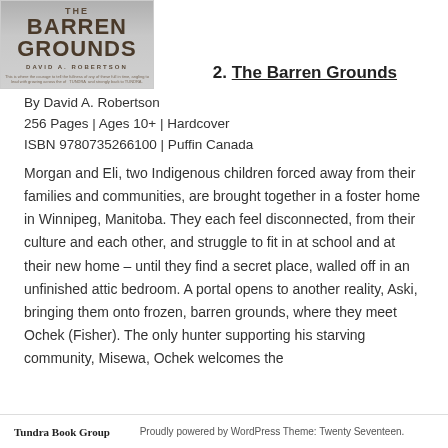[Figure (illustration): Book cover of 'The Barren Grounds' by David A. Robertson, showing title text in bold over a grey/muted background with small author tagline text at bottom.]
2. The Barren Grounds
By David A. Robertson
256 Pages | Ages 10+ | Hardcover
ISBN 9780735266100 | Puffin Canada
Morgan and Eli, two Indigenous children forced away from their families and communities, are brought together in a foster home in Winnipeg, Manitoba. They each feel disconnected, from their culture and each other, and struggle to fit in at school and at their new home – until they find a secret place, walled off in an unfinished attic bedroom. A portal opens to another reality, Aski, bringing them onto frozen, barren grounds, where they meet Ochek (Fisher). The only hunter supporting his starving community, Misewa, Ochek welcomes the
Tundra Book Group    Proudly powered by WordPress Theme: Twenty Seventeen.